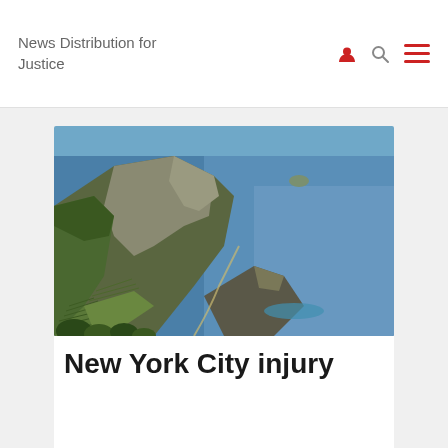News Distribution for Justice
[Figure (photo): Aerial coastal landscape showing steep green hillsides with terraced vineyards descending to rocky cliffs meeting deep blue sea water. A small island or rock formation is visible in the distance.]
New York City injury